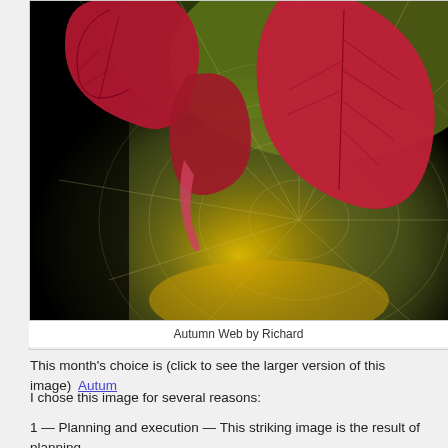[Figure (photo): Close-up photograph of red autumn leaves hanging down against a bokeh green and golden yellow background, with a spider web visible in the foreground catching light.]
Autumn Web by Richard
This month's choice is (click to see the larger version of this image)  Autumn
I chose this image for several reasons:
1 — Planning and execution — This striking image is the result of planning, wasn't a quick snap. The lighting, comp and post-processing are all well tho